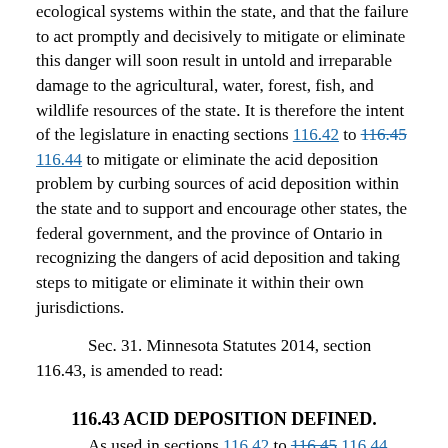ecological systems within the state, and that the failure to act promptly and decisively to mitigate or eliminate this danger will soon result in untold and irreparable damage to the agricultural, water, forest, fish, and wildlife resources of the state. It is therefore the intent of the legislature in enacting sections 116.42 to 116.45 116.44 to mitigate or eliminate the acid deposition problem by curbing sources of acid deposition within the state and to support and encourage other states, the federal government, and the province of Ontario in recognizing the dangers of acid deposition and taking steps to mitigate or eliminate it within their own jurisdictions.
Sec. 31. Minnesota Statutes 2014, section 116.43, is amended to read:
116.43 ACID DEPOSITION DEFINED.
As used in sections 116.42 to 116.45 116.44, "acid deposition" means the wet or dry deposition from the atmosphere of chemical compounds, usually in the form of rain or snow, having the potential to form an aqueous compound with a pH level lower than the level considered normal under natural conditions, or lower than 5.6.
Sec. 32. Minnesota Statutes 2014, section 116.77 is